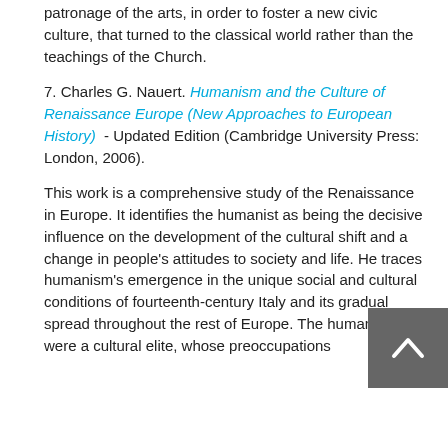patronage of the arts, in order to foster a new civic culture, that turned to the classical world rather than the teachings of the Church.
7. Charles G. Nauert. Humanism and the Culture of Renaissance Europe (New Approaches to European History) - Updated Edition (Cambridge University Press: London, 2006).
This work is a comprehensive study of the Renaissance in Europe. It identifies the humanist as being the decisive influence on the development of the cultural shift and a change in people's attitudes to society and life. He traces humanism's emergence in the unique social and cultural conditions of fourteenth-century Italy and its gradual spread throughout the rest of Europe. The humanists were a cultural elite, whose preoccupations